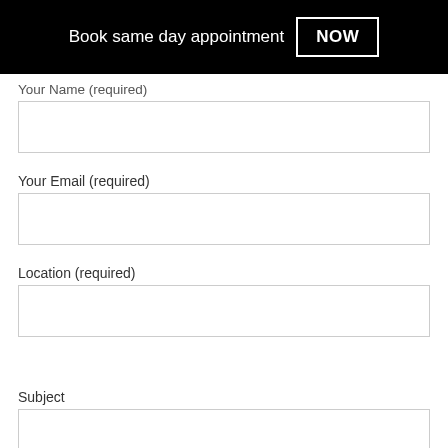Book same day appointment NOW
Your Name (required)
Your Email (required)
Location (required)
Subject